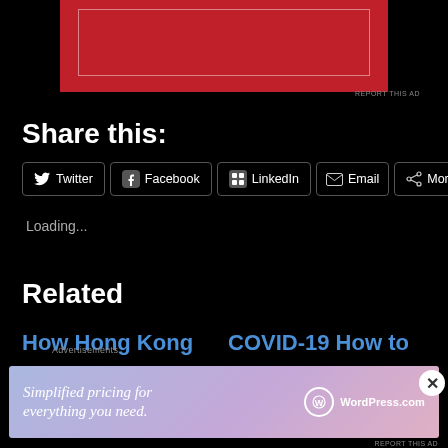[Figure (other): Red advertisement banner at the top of the page with a white inner border rectangle]
REPORT THIS AD
Share this:
Twitter  Facebook  LinkedIn  Email  More
Loading...
Related
How Hong Kong
COVID-19 How to
Advertisements
[Figure (other): WordPress.com advertisement banner: 'Simplified pricing for everything you need.' with WordPress.com logo on gradient blue-pink background]